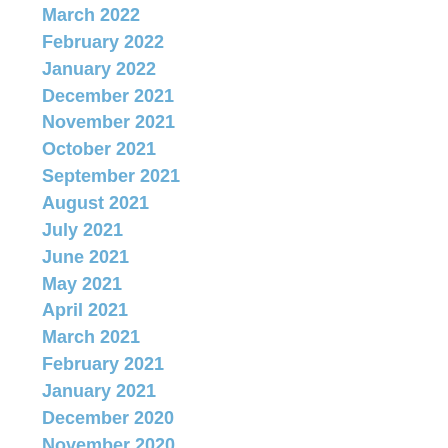March 2022
February 2022
January 2022
December 2021
November 2021
October 2021
September 2021
August 2021
July 2021
June 2021
May 2021
April 2021
March 2021
February 2021
January 2021
December 2020
November 2020
October 2020
September 2020
August 2020
July 2020